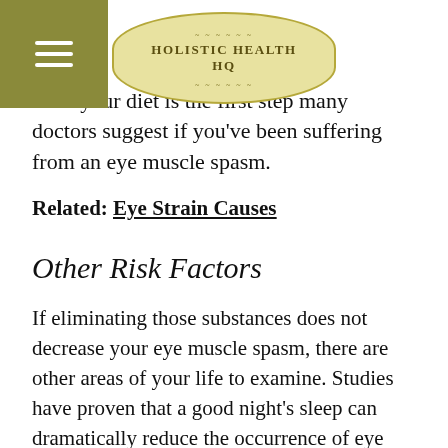HOLISTIC HEALTH HQ
from your diet is the first step many doctors suggest if you've been suffering from an eye muscle spasm.
Related: Eye Strain Causes
Other Risk Factors
If eliminating those substances does not decrease your eye muscle spasm, there are other areas of your life to examine. Studies have proven that a good night's sleep can dramatically reduce the occurrence of eye muscle spasms. Stress is another known contributor to eye twitches. This is intuitively understood by the culture, demonstrated by the depictions of overly stressed individuals